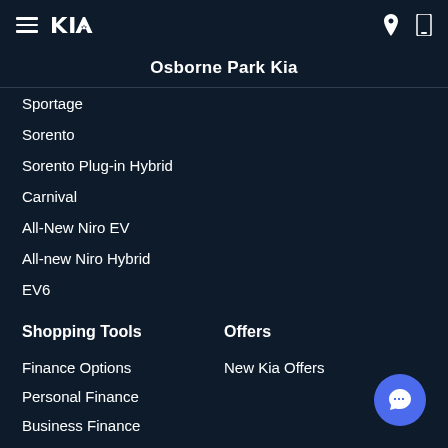Kia dealer navigation header with hamburger menu, Kia logo, location icon, phone icon
Osborne Park Kia
Sportage
Sorento
Sorento Plug-in Hybrid
Carnival
All-New Niro EV
All-new Niro Hybrid
EV6
Shopping Tools
Finance Options
Personal Finance
Business Finance
Finance Calculator
Offers
New Kia Offers